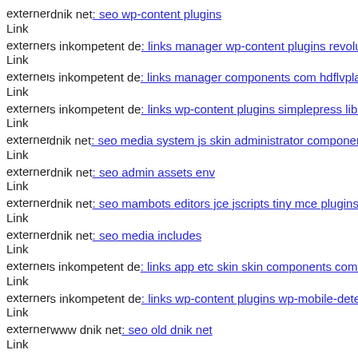externer Link  dnik net: seo wp-content plugins
externer Link  s inkompetent de: links manager wp-content plugins revolu
externer Link  s inkompetent de: links manager components com hdflvplay
externer Link  s inkompetent de: links wp-content plugins simplepress libs
externer Link  dnik net: seo media system js skin administrator component
externer Link  dnik net: seo admin assets env
externer Link  dnik net: seo mambots editors jce jscripts tiny mce plugins
externer Link  dnik net: seo media includes
externer Link  s inkompetent de: links app etc skin skin components com b
externer Link  s inkompetent de: links wp-content plugins wp-mobile-dete
externer Link  www dnik net: seo old dnik net